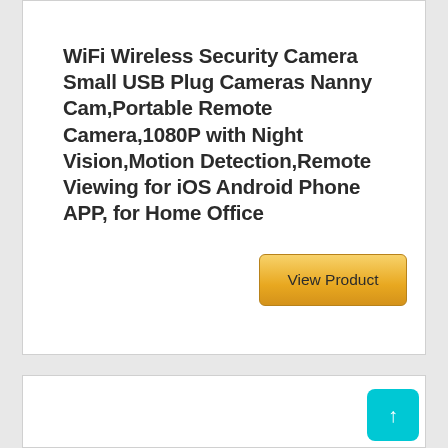WiFi Wireless Security Camera Small USB Plug Cameras Nanny Cam,Portable Remote Camera,1080P with Night Vision,Motion Detection,Remote Viewing for iOS Android Phone APP, for Home Office
[Figure (other): View Product button with gold gradient background]
[Figure (other): Back to top button with teal/cyan background and upward arrow]